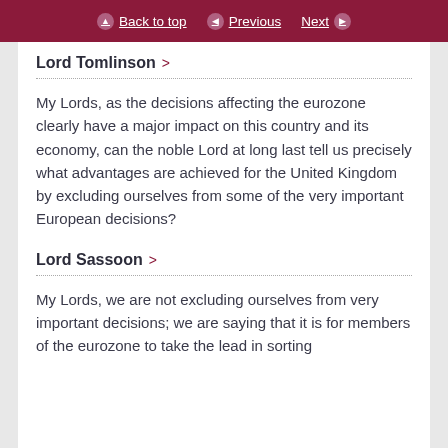Back to top | Previous | Next
Lord Tomlinson >
My Lords, as the decisions affecting the eurozone clearly have a major impact on this country and its economy, can the noble Lord at long last tell us precisely what advantages are achieved for the United Kingdom by excluding ourselves from some of the very important European decisions?
Lord Sassoon >
My Lords, we are not excluding ourselves from very important decisions; we are saying that it is for members of the eurozone to take the lead in sorting